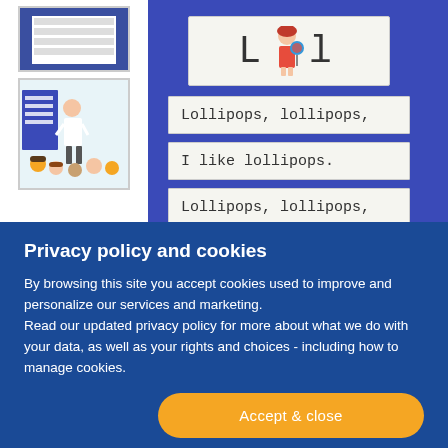[Figure (photo): Thumbnail image of a blue pocket chart with white cards showing text lines]
[Figure (photo): Thumbnail photo of a teacher pointing to a blue pocket chart while students watch]
[Figure (photo): Main photo of a blue pocket chart with cards reading: 'L [girl illustration] l', 'Lollipops, lollipops,', 'I like lollipops.', 'Lollipops, lollipops', 'Lick, lick, lick.']
Privacy policy and cookies
By browsing this site you accept cookies used to improve and personalize our services and marketing.
Read our updated privacy policy for more about what we do with your data, as well as your rights and choices - including how to manage cookies.
Accept & close